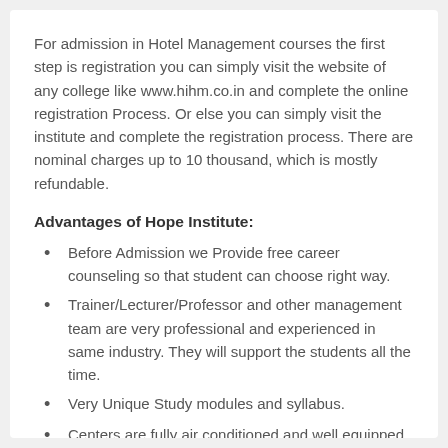For admission in Hotel Management courses the first step is registration you can simply visit the website of any college like www.hihm.co.in and complete the online registration Process. Or else you can simply visit the institute and complete the registration process. There are nominal charges up to 10 thousand, which is mostly refundable.
Advantages of Hope Institute:
Before Admission we Provide free career counseling so that student can choose right way.
Trainer/Lecturer/Professor and other management team are very professional and experienced in same industry. They will support the students all the time.
Very Unique Study modules and syllabus.
Centers are fully air conditioned and well equipped for practical classes.